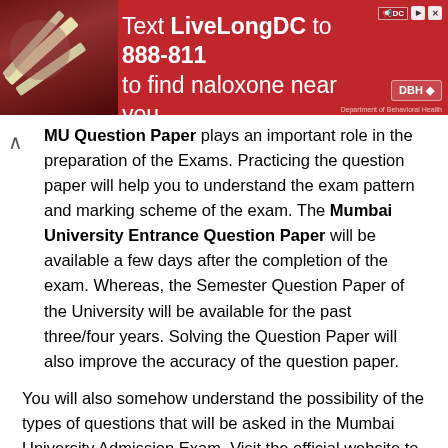[Figure (infographic): Red advertisement banner: Text LiveLongDC to 888-811 to find naloxone near you. Features a photo of hands holding medication/syringes on the left, and logos (MDC, DHH) on the right.]
MU Question Paper plays an important role in the preparation of the Exams. Practicing the question paper will help you to understand the exam pattern and marking scheme of the exam. The Mumbai University Entrance Question Paper will be available a few days after the completion of the exam. Whereas, the Semester Question Paper of the University will be available for the past three/four years. Solving the Question Paper will also improve the accuracy of the question paper.
You will also somehow understand the possibility of the types of questions that will be asked in the Mumbai University Admission Exam. Visit the official website to download Mumbai University Question Paper Solution.
Check Mumbai University and Other Universities Question Paper